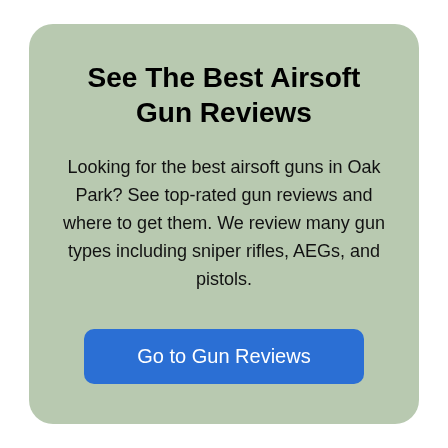See The Best Airsoft Gun Reviews
Looking for the best airsoft guns in Oak Park? See top-rated gun reviews and where to get them. We review many gun types including sniper rifles, AEGs, and pistols.
Go to Gun Reviews